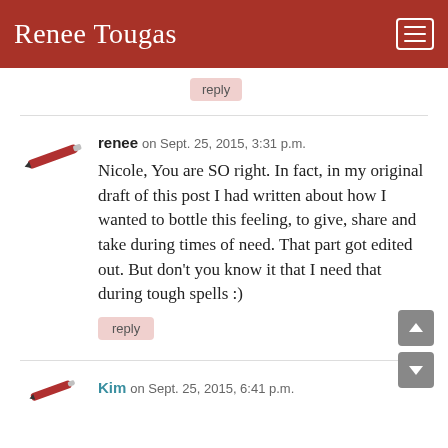Renee Tougas
reply
renee on Sept. 25, 2015, 3:31 p.m.
Nicole, You are SO right. In fact, in my original draft of this post I had written about how I wanted to bottle this feeling, to give, share and take during times of need. That part got edited out. But don't you know it that I need that during tough spells :)
reply
Kim on Sept. 25, 2015, 6:41 p.m.